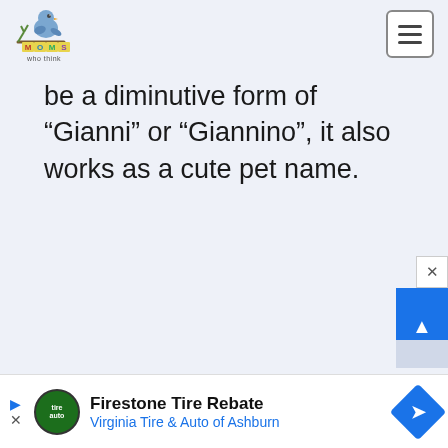[Figure (logo): Moms Who Think logo with cartoon bird sitting on colorful letter blocks]
be a diminutive form of “Gianni” or “Giannino”, it also works as a cute pet name.
[Figure (other): Advertisement bar: Firestone Tire Rebate - Virginia Tire & Auto of Ashburn]